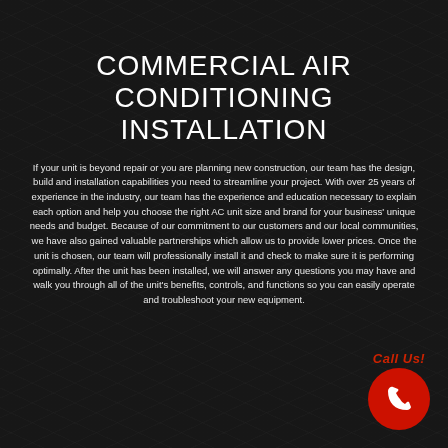COMMERCIAL AIR CONDITIONING INSTALLATION
If your unit is beyond repair or you are planning new construction, our team has the design, build and installation capabilities you need to streamline your project. With over 25 years of experience in the industry, our team has the experience and education necessary to explain each option and help you choose the right AC unit size and brand for your business' unique needs and budget. Because of our commitment to our customers and our local communities, we have also gained valuable partnerships which allow us to provide lower prices. Once the unit is chosen, our team will professionally install it and check to make sure it is performing optimally. After the unit has been installed, we will answer any questions you may have and walk you through all of the unit's benefits, controls, and functions so you can easily operate and troubleshoot your new equipment.
[Figure (illustration): Red circular phone icon with white telephone handset and 'Call Us!' text label above it, positioned in bottom-right corner]